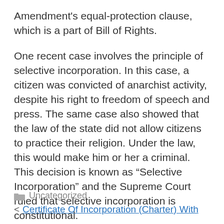Amendment's equal-protection clause, which is a part of Bill of Rights.
One recent case involves the principle of selective incorporation. In this case, a citizen was convicted of anarchist activity, despite his right to freedom of speech and press. The same case also showed that the law of the state did not allow citizens to practice their religion. Under the law, this would make him or her a criminal. This decision is known as “Selective Incorporation” and the Supreme Court ruled that selective incorporation is constitutional.
Uncategorized
< Certificate Of Incorporation (Charter) With